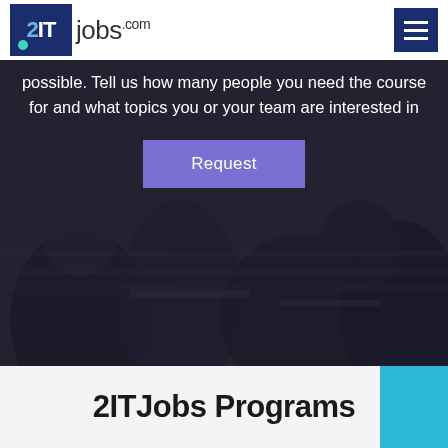2ITjobs.com
possible. Tell us how many people you need the course for and what topics you or your team are interested in
Request
2ITJobs Programs
[Figure (screenshot): Cyan/blue decorative block at bottom right corner]